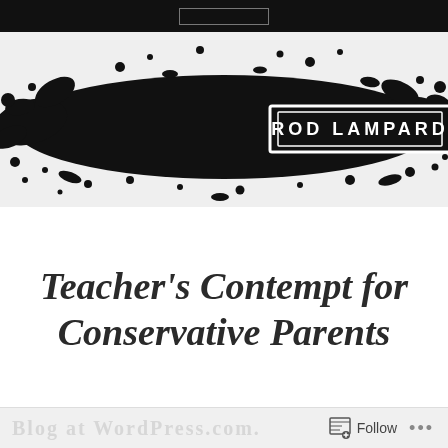[Figure (illustration): Blog header banner with large black ink splatter/splash graphic on light background, with 'ROD LAMPARD' text in white capital letters inside a white-bordered rectangle centered on the splash.]
Teacher’s Contempt for Conservative Parents
Follow ...